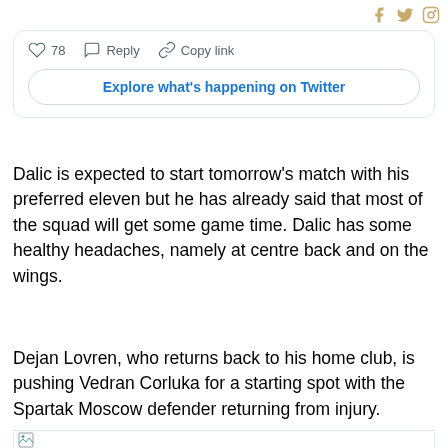Social media icons: Facebook, Twitter, Instagram
[Figure (screenshot): Tweet embed card with like count 78, Reply and Copy link actions, and Explore what's happening on Twitter button]
Dalic is expected to start tomorrow's match with his preferred eleven but he has already said that most of the squad will get some game time. Dalic has some healthy headaches, namely at centre back and on the wings.
Dejan Lovren, who returns back to his home club, is pushing Vedran Corluka for a starting spot with the Spartak Moscow defender returning from injury.
[Figure (other): Broken/loading image placeholder]